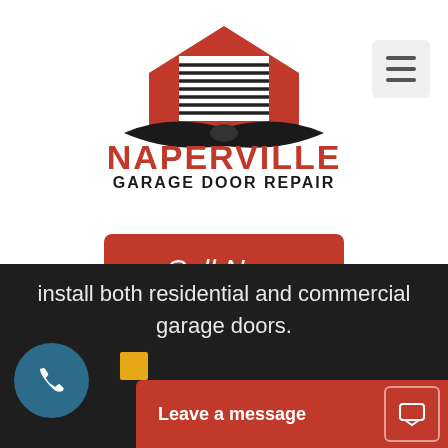[Figure (logo): Naperville Garage Door Repair logo with red house/garage icon and black torsion spring bar, red bold NAPERVILLE text, black GARAGE DOOR REPAIR text below]
[Figure (other): Hamburger menu button (three horizontal lines) on a light gray rounded rectangle background]
Call Now
Search...
[Figure (other): Red search button with white magnifying glass icon]
install both residential and commercial garage doors.
[Figure (other): Teal circular phone call button with white phone handset icon]
Leave a message